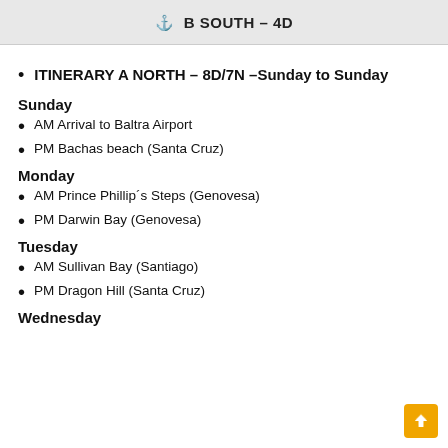⚓ B SOUTH – 4D
ITINERARY A NORTH – 8D/7N –Sunday to Sunday
Sunday
AM Arrival to Baltra Airport
PM Bachas beach (Santa Cruz)
Monday
AM Prince Phillip´s Steps (Genovesa)
PM Darwin Bay (Genovesa)
Tuesday
AM Sullivan Bay (Santiago)
PM Dragon Hill (Santa Cruz)
Wednesday